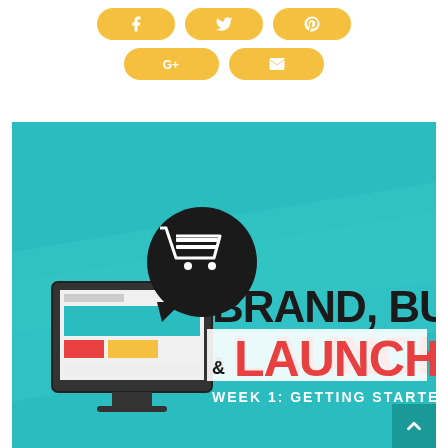[Figure (infographic): Social share buttons row 1: Facebook, Twitter, Pinterest - rounded yellow pill buttons with white icons]
[Figure (infographic): Social share buttons row 2: Google+, Email - rounded yellow pill buttons with white icons]
[Figure (illustration): Brand, Build & Launch infographic banner on teal background with computer/shopping cart illustration. Text reads BRAND, BUILD & LAUNCH WEEK 1: GETTING STARTED]